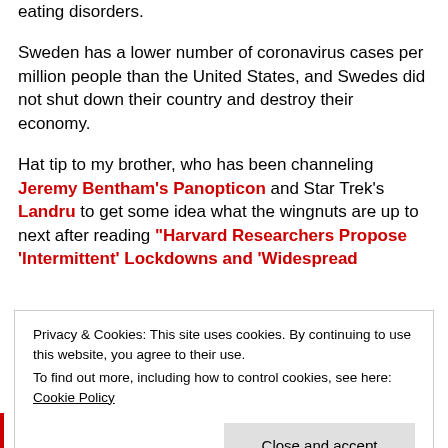eating disorders.
Sweden has a lower number of coronavirus cases per million people than the United States,  and Swedes did not shut down their country and destroy their economy.
Hat tip to my brother, who has been channeling Jeremy Bentham's Panopticon and Star Trek's Landru to get some idea what the wingnuts are up to next after reading “Harvard Researchers Propose ‘Intermittent’ Lockdowns and ‘Widespread Surveillance’…
Privacy & Cookies: This site uses cookies. By continuing to use this website, you agree to their use.
To find out more, including how to control cookies, see here: Cookie Policy
Close and accept
down. They could do this over and over again for years